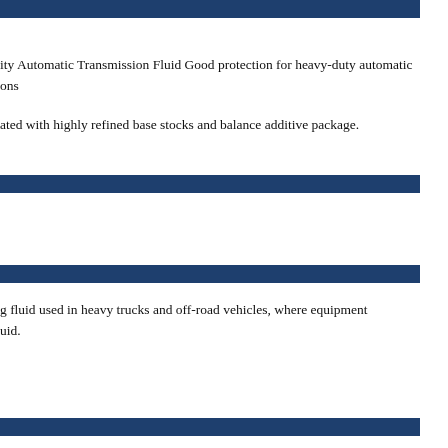ity Automatic Transmission Fluid Good protection for heavy-duty automatic ons
ated with highly refined base stocks and balance additive package.
g fluid used in heavy trucks and off-road vehicles, where equipment uid.
ility.
n and foaming.
d heat transfer efficiency in torque converter system.
rrous metals.
ler the normal operating conditions.